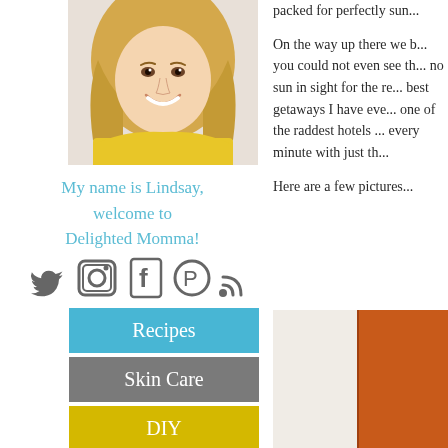[Figure (photo): Headshot of a smiling blonde woman wearing a yellow lace top]
My name is Lindsay, welcome to Delighted Momma!
[Figure (infographic): Social media icons: Twitter, Instagram, Facebook, Pinterest, RSS feed]
[Figure (infographic): Navigation buttons: Recipes (blue), Skin Care (gray), DIY (yellow)]
packed for perfectly sun...
On the way up there we b... you could not even see th... no sun in sight for the re... best getaways I have eve... one of the raddest hotels ... every minute with just th...
Here are a few pictures...
[Figure (photo): Partial view of an orange and cream colored wall or surface]